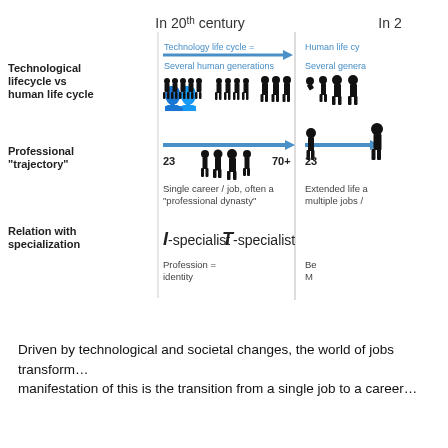[Figure (infographic): Comparison table infographic showing differences between 20th century and 21st century across three dimensions: Technological lifecycle vs human life cycle, Professional trajectory, and Relation with specialization. In 20th century: technology life cycle = several human generations; single career/job often a professional dynasty; I-specialist and T-specialist. Profession = identity. Right column partially cut off showing 21st century counterparts.]
Driven by technological and societal changes, the world of jobs transform... manifestation of this is the transition from a single job to a career...